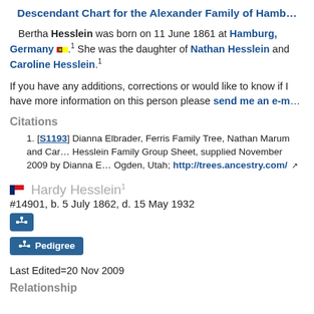Descendant Chart for the Alexander Family of Hamburg
Bertha Hesslein was born on 11 June 1861 at Hamburg, Germany. She was the daughter of Nathan Hesslein and Caroline Hesslein.
If you have any additions, corrections or would like to know if I have more information on this person please send me an e-mail
Citations
[S1193] Dianna Elbrader, Ferris Family Tree, Nathan Marum and Caroline Hesslein Family Group Sheet, supplied November 2009 by Dianna Elbrader, Ogden, Utah; http://trees.ancestry.com/
Hardy Hesslein #14901, b. 5 July 1862, d. 15 May 1932
Last Edited=20 Nov 2009
Relationship